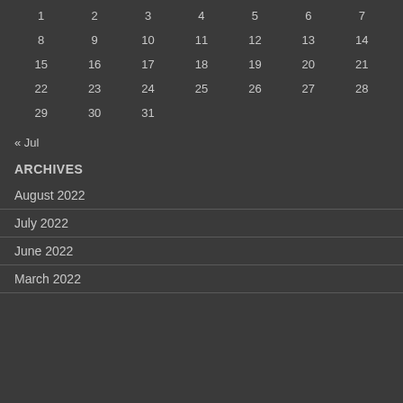| 1 | 2 | 3 | 4 | 5 | 6 | 7 |
| 8 | 9 | 10 | 11 | 12 | 13 | 14 |
| 15 | 16 | 17 | 18 | 19 | 20 | 21 |
| 22 | 23 | 24 | 25 | 26 | 27 | 28 |
| 29 | 30 | 31 |  |  |  |  |
« Jul
ARCHIVES
August 2022
July 2022
June 2022
March 2022